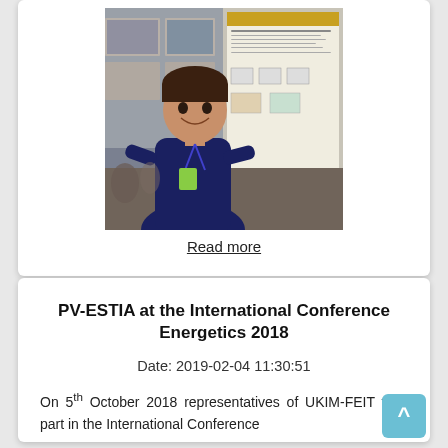[Figure (photo): A person standing in front of a conference poster display, smiling at camera, wearing a blue shirt and lanyard badge.]
Read more
PV-ESTIA at the International Conference Energetics 2018
Date: 2019-02-04 11:30:51
On 5th October 2018 representatives of UKIM-FEIT took part in the International Conference